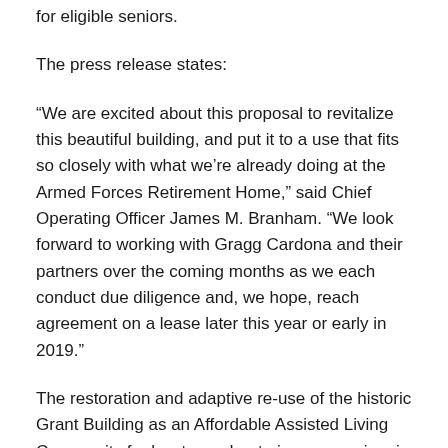for eligible seniors.
The press release states:
“We are excited about this proposal to revitalize this beautiful building, and put it to a use that fits so closely with what we’re already doing at the Armed Forces Retirement Home,” said Chief Operating Officer James M. Branham. “We look forward to working with Gragg Cardona and their partners over the coming months as we each conduct due diligence and, we hope, reach agreement on a lease later this year or early in 2019.”
The restoration and adaptive re-use of the historic Grant Building as an Affordable Assisted Living Community for low to moderate income seniors is a wonderful solution, and will be an asset to both the AFRH’s long-term goals as well as the greater communities surrounding the home. In